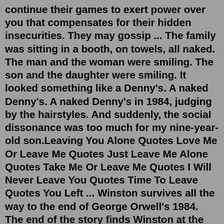continue their games to exert power over you that compensates for their hidden insecurities. They may gossip ... The family was sitting in a booth, on towels, all naked. The man and the woman were smiling. The son and the daughter were smiling. It looked something like a Denny's. A naked Denny's. A naked Denny's in 1984, judging by the hairstyles. And suddenly, the social dissonance was too much for my nine-year-old son.Leaving You Alone Quotes Love Me Or Leave Me Quotes Just Leave Me Alone Quotes Take Me Or Leave Me Quotes I Will Never Leave You Quotes Time To Leave Quotes You Left ... Winston survives all the way to the end of George Orwell's 1984. The end of the story finds Winston at the Chestnut Tree Café, sitting by a chess board and drinking gin. A number of memories appear in his head. At first he remembers a day from his childhood, before his mother disappeared. It was a memory of joy, and Winston "pushed the picture ...When you look at the census data, New England is the only region a here showing ends other quickly. In other